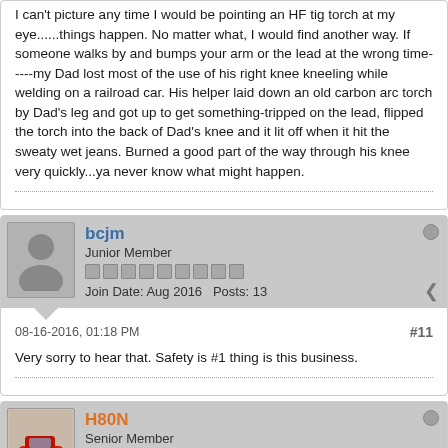I can't picture any time I would be pointing an HF tig torch at my eye......things happen. No matter what, I would find another way. If someone walks by and bumps your arm or the lead at the wrong time-----my Dad lost most of the use of his right knee kneeling while welding on a railroad car. His helper laid down an old carbon arc torch by Dad's leg and got up to get something-tripped on the lead, flipped the torch into the back of Dad's knee and it lit off when it hit the sweaty wet jeans. Burned a good part of the way through his knee very quickly...ya never know what might happen.
bcjm
Junior Member
Join Date: Aug 2016   Posts: 13
08-16-2016, 01:18 PM
#11
Very sorry to hear that. Safety is #1 thing is this business.
H80N
Senior Member